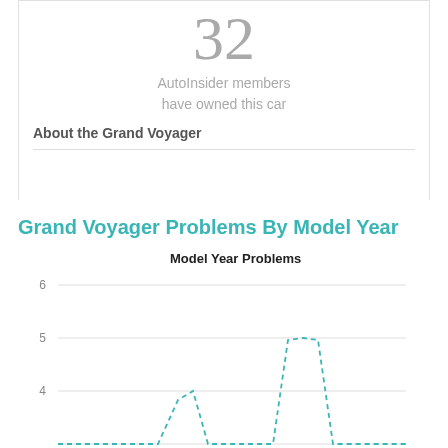32
AutoInsider members have owned this car
About the Grand Voyager
Grand Voyager Problems By Model Year
[Figure (line-chart): Line chart showing Grand Voyager problems by model year. Y-axis shows values 4, 5, 6. A dashed teal line peaks around 4 in the middle-left area and peaks at 5 further right.]